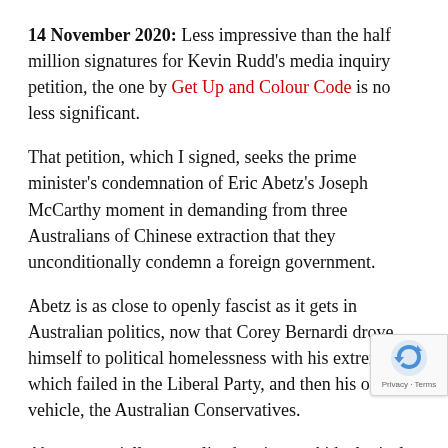14 November 2020: Less impressive than the half million signatures for Kevin Rudd's media inquiry petition, the one by Get Up and Colour Code is no less significant.
That petition, which I signed, seeks the prime minister's condemnation of Eric Abetz's Joseph McCarthy moment in demanding from three Australians of Chinese extraction that they unconditionally condemn a foreign government.
Abetz is as close to openly fascist as it gets in Australian politics, now that Corey Bernardi drove himself to political homelessness with his extremism, which failed in the Liberal Party, and then his own vehicle, the Australian Conservatives.
Abetz essentially normalized racism and ideological
[Figure (other): reCAPTCHA badge with circular arrow icon and Privacy - Terms text]